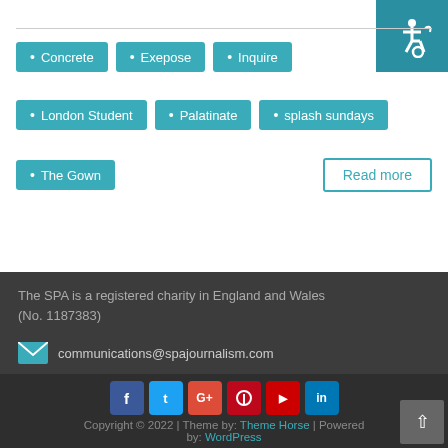• Concrete
• Exepose
• Inquire
• London Student
• Palatinate
• splash sundays
• The Gown
Read more
The SPA is a registered charity in England and Wales (No. 1187383)
communications@spajournalism.com
Copyright © 2022 | Theme by: Theme Horse | Powered by: WordPress